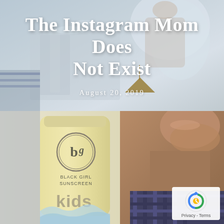[Figure (photo): Top half: outdoor photo with a woman holding a plastic bag against a fountain/outdoor background. Overlaid with white text title 'The Instagram Mom Does Not Exist' and date 'August 20, 2019'.]
The Instagram Mom Does Not Exist
August 20, 2019
[Figure (photo): Bottom half: close-up photo of a yellow tube of 'Black Girl Sunscreen KIDS' product next to the lower face/neck of a Black child. A Google reCAPTCHA privacy badge appears in the bottom-right corner.]